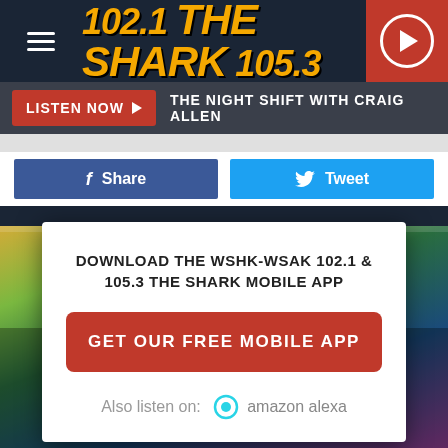[Figure (screenshot): Radio station 102.1 The Shark 105.3 website header with hamburger menu, logo, and play button]
LISTEN NOW ▶  THE NIGHT SHIFT WITH CRAIG ALLEN
f Share
Tweet
DOWNLOAD THE WSHK-WSAK 102.1 & 105.3 THE SHARK MOBILE APP
GET OUR FREE MOBILE APP
Also listen on:  amazon alexa